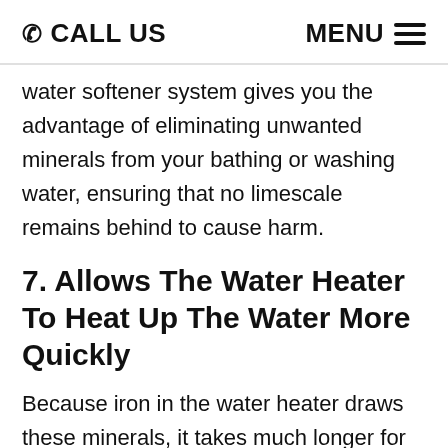CALL US   MENU
water softener system gives you the advantage of eliminating unwanted minerals from your bathing or washing water, ensuring that no limescale remains behind to cause harm.
7. Allows The Water Heater To Heat Up The Water More Quickly
Because iron in the water heater draws these minerals, it takes much longer for your water to warm up if hard water travels